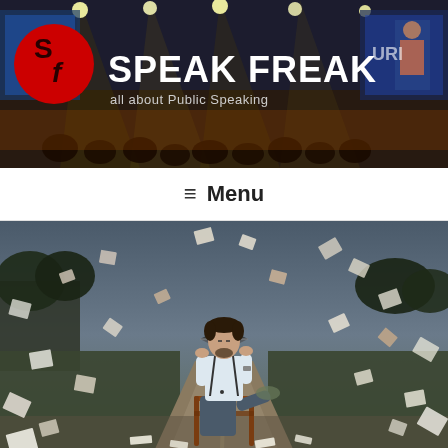[Figure (photo): Website header banner showing a conference stage with audience, lighting rigs, and large screens. Red circular logo with 'SF' letters on the left, 'SPEAK FREAK' in large bold white text, tagline 'all about Public Speaking' below.]
SPEAK FREAK
all about Public Speaking
≡ Menu
[Figure (photo): Young man in a white shirt with suspenders and bow tie sitting on a wooden chair in the middle of a rural dirt road, with papers and sheets of paper flying all around him in the air. He holds a book over his head like a tent. Moody, dramatic lighting with dark sky in background.]